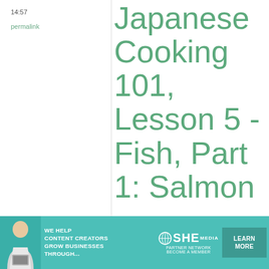14:57
permalink
Japanese Cooking 101, Lesson 5 - Fish, Part 1: Salmon ...
Wow - that looks wonderful! Better than mine even! ^_^
[Figure (infographic): Teal advertisement banner for SHE Media Partner Network reading: WE HELP CONTENT CREATORS GROW BUSINESSES THROUGH... with LEARN MORE button and photo of a woman with laptop]